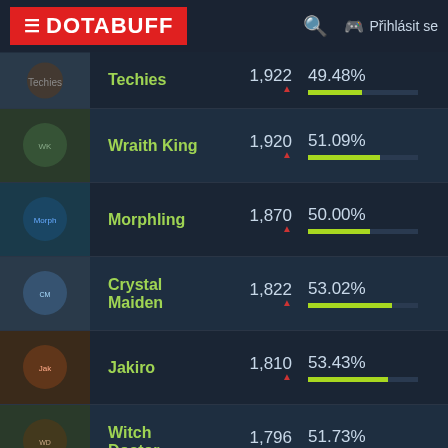DOTABUFF — Přihlásit se
| Hero | Matches | Win Rate |
| --- | --- | --- |
| Techies | 1,922 | 49.48% |
| Wraith King | 1,920 | 51.09% |
| Morphling | 1,870 | 50.00% |
| Crystal Maiden | 1,822 | 53.02% |
| Jakiro | 1,810 | 53.43% |
| Witch Doctor | 1,796 | 51.73% |
| Tiny | 1,769 | 53.14% |
| Magnus | 1,760 | 50.68% |
| Gyrocopter | 1,733 | 51.88% |
| Rubick | 1,607 | 43.25% |
| Sven | 1,505 | 42.59% |
| Anti-Mage | 1,480 | 50.00% |
| Nyx Assassin | 1,374 | 49.64% |